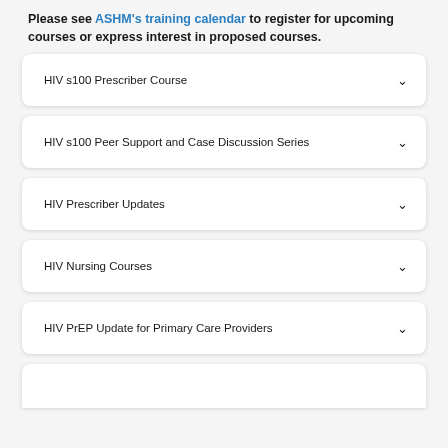Please see ASHM's training calendar to register for upcoming courses or express interest in proposed courses.
HIV s100 Prescriber Course
HIV s100 Peer Support and Case Discussion Series
HIV Prescriber Updates
HIV Nursing Courses
HIV PrEP Update for Primary Care Providers